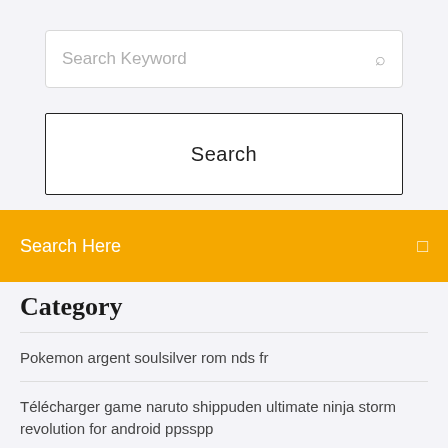Search Keyword
Search
Search Here
Category
Pokemon argent soulsilver rom nds fr
Télécharger game naruto shippuden ultimate ninja storm revolution for android ppsspp